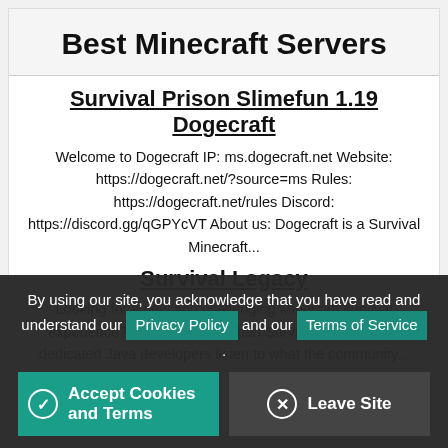Best Minecraft Servers
Survival Prison Slimefun 1.19 Dogecraft
Welcome to Dogecraft IP: ms.dogecraft.net Website: https://dogecraft.net/?source=ms Rules: https://dogecraft.net/rules Discord: https://discord.gg/qGPYcVT About us: Dogecraft is a Survival Minecraft...
Survival Legacy
Looking for a new and challenging Minecraft survival experience? Look no further than Survival Legacy! Our dedicated Java developers listen to what the community...
By using our site, you acknowledge that you have read and understand our Privacy Policy and our Terms of Service .
Accept Cookies and Terms
Leave Site